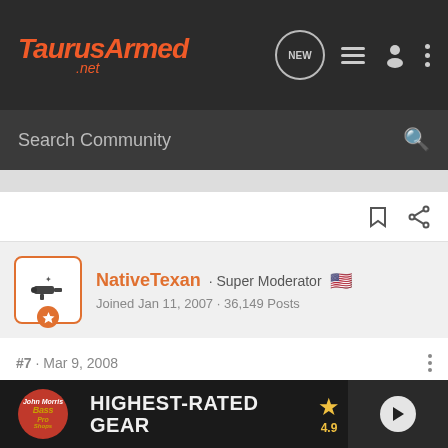TaurusArmed.net — navigation bar with NEW, list, user, and menu icons
Search Community
NativeTexan · Super Moderator 🇺🇸
Joined Jan 11, 2007 · 36,149 Posts
#7 · Mar 9, 2008
Well, considering the caliber, I reckon it'll be used with shooting sticks or some sort of rest to take prairie dogs at 200 yards or something. I have a 12" .30-30 barrel on my contender, but there's no cylinder to lengthen it. It is actually pretty compact as hunting handguns go. The 10" barrels are positively svelte. 😀 I like the [text continues] chamber[ed in a] shoulder[...] at
[Figure (screenshot): Bass Pro Shops ad banner — HIGHEST-RATED GEAR, rating 4.9 stars, product image with play button]